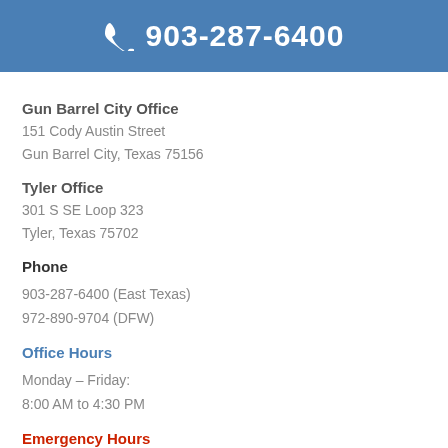903-287-6400
Gun Barrel City Office
151 Cody Austin Street
Gun Barrel City, Texas 75156
Tyler Office
301 S SE Loop 323
Tyler, Texas 75702
Phone
903-287-6400 (East Texas)
972-890-9704 (DFW)
Office Hours
Monday – Friday:
8:00 AM to 4:30 PM
Emergency Hours